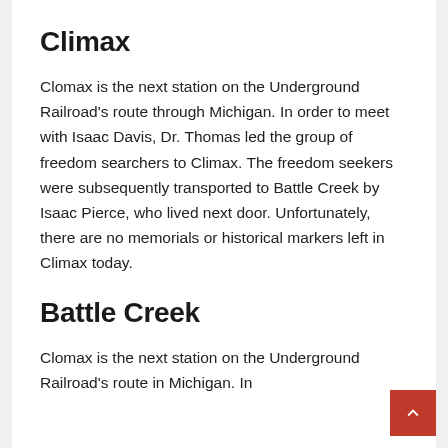Climax
Clomax is the next station on the Underground Railroad’s route through Michigan. In order to meet with Isaac Davis, Dr. Thomas led the group of freedom searchers to Climax. The freedom seekers were subsequently transported to Battle Creek by Isaac Pierce, who lived next door. Unfortunately, there are no memorials or historical markers left in Climax today.
Battle Creek
Clomax is the next station on the Underground Railroad’s route in Michigan. In…